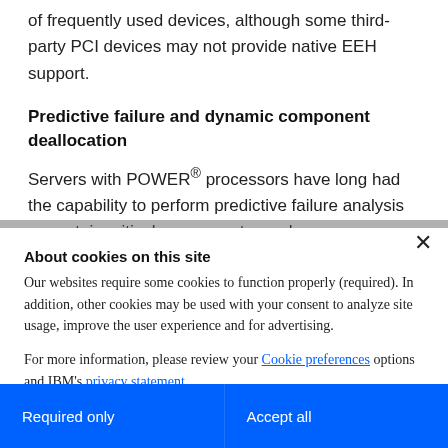of frequently used devices, although some third-party PCI devices may not provide native EEH support.
Predictive failure and dynamic component deallocation
Servers with POWER® processors have long had the capability to perform predictive failure analysis on certain critical components, such as processors and memory. When these components exhibit symptoms
About cookies on this site
Our websites require some cookies to function properly (required). In addition, other cookies may be used with your consent to analyze site usage, improve the user experience and for advertising.
For more information, please review your Cookie preferences options and IBM's privacy statement.
Required only
Accept all